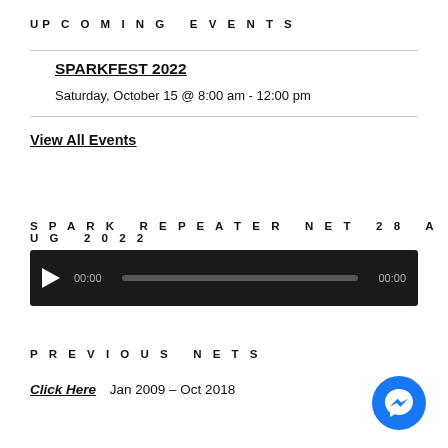UPCOMING EVENTS
SPARKFEST 2022
Saturday, October 15 @ 8:00 am - 12:00 pm
View All Events
SPARK REPEATER NET 28 AUG 2022
[Figure (other): Audio player with play button, 00:00 time display, progress bar, and 00:00 duration]
PREVIOUS NETS
Click Here   Jan 2009 – Oct 2018
[Figure (logo): Facebook Messenger circular blue button icon]